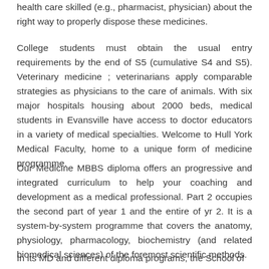health care skilled (e.g., pharmacist, physician) about the right way to properly dispose these medicines.
College students must obtain the usual entry requirements by the end of S5 (cumulative S4 and S5). Veterinary medicine ; veterinarians apply comparable strategies as physicians to the care of animals. With six major hospitals housing about 2000 beds, medical students in Evansville have access to doctor educators in a variety of medical specialties. Welcome to Hull York Medical Faculty, home to a unique form of medicine programme.
Our Medicine MBBS diploma offers an progressive and integrated curriculum to help your coaching and development as a medical professional. Part 2 occupies the second part of year 1 and the entire of yr 2. It is a system-by-system programme that covers the anatomy, physiology, pharmacology, biochemistry (and related biomedical sciences) of the foremost scientific methods.
In its MD and different diploma programs, the School of